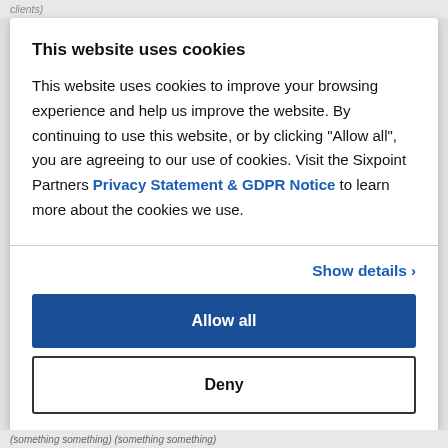clients)
This website uses cookies
This website uses cookies to improve your browsing experience and help us improve the website. By continuing to use this website, or by clicking "Allow all", you are agreeing to our use of cookies. Visit the Sixpoint Partners Privacy Statement & GDPR Notice to learn more about the cookies we use.
Show details >
Allow all
Deny
(something something) (something something)